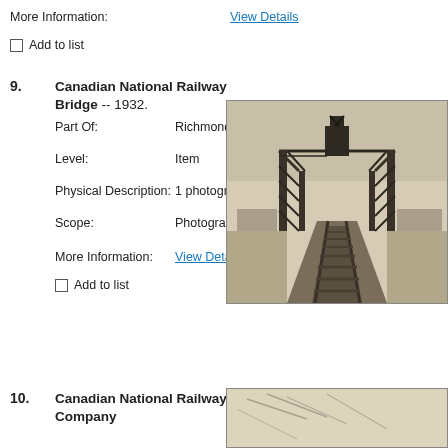More Information:
View Details
Add to list
9. Canadian National Railway Bridge -- 1932.
Part Of: Richmond Archives photograph collection [Des
Level: Item
Physical Description: 1 photograph : 2.5 x 3.5 in
Scope: Photograph depicting a railway bridge over the no
More Information: View Details
Add to list
[Figure (photo): Black and white photograph of the Canadian National Railway Bridge, 1932, showing railway tracks leading to a steel truss bridge structure over water]
10. Canadian National Railway Company
[Figure (photo): Partial view of another photograph related to Canadian National Railway Company]